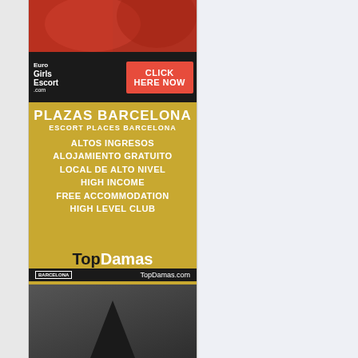[Figure (photo): Red lingerie photo advertisement (top cropped image)]
[Figure (advertisement): Euro Girls Escort banner with CLICK HERE NOW button]
[Figure (advertisement): Plazas Barcelona escort advertisement in gold/yellow with TopDamas.com branding, text: PLAZAS BARCELONA ESCORT PLACES BARCELONA, ALTOS INGRESOS, ALOJAMIENTO GRATUITO, LOCAL DE ALTO NIVEL, HIGH INCOME, FREE ACCOMMODATION, HIGH LEVEL CLUB, TopDamas BARCELONA TopDamas.com]
[Figure (photo): Black and white photo advertisement with text INDEPENDENT ESCORTS SWITZERLAND in gold letters]
[Figure (photo): Bottom cropped photo advertisement]